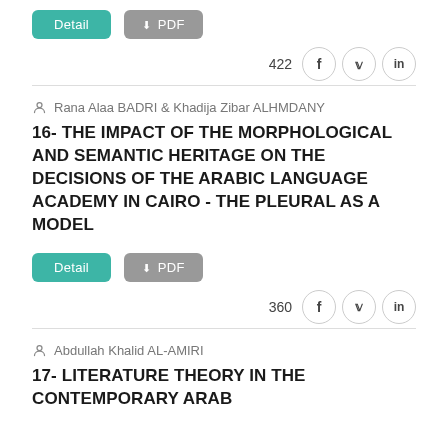Detail  ⬇ PDF
422  f  𝕏  in
Rana Alaa BADRI & Khadija Zibar ALHMDANY
16- THE IMPACT OF THE MORPHOLOGICAL AND SEMANTIC HERITAGE ON THE DECISIONS OF THE ARABIC LANGUAGE ACADEMY IN CAIRO - THE PLEURAL AS A MODEL
Detail  ⬇ PDF
360  f  𝕏  in
Abdullah Khalid AL-AMIRI
17- LITERATURE THEORY IN THE CONTEMPORARY ARAB